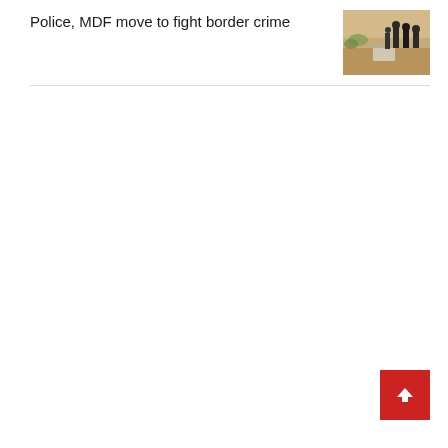Police, MDF move to fight border crime
[Figure (photo): Thumbnail photo showing people (possibly police or military personnel) standing outdoors near a concrete structure, in a warm sandy/earthy outdoor setting.]